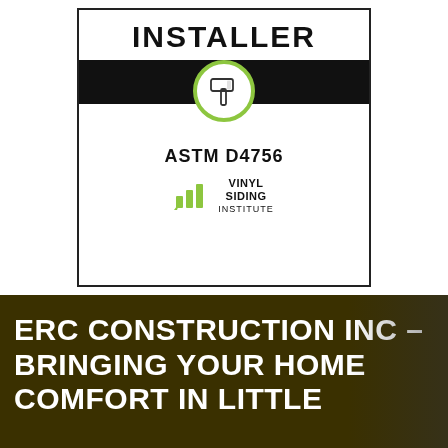[Figure (logo): ASTM D4756 certified vinyl siding installer badge. White rectangle with 'INSTALLER' text at top in bold black letters, black horizontal band in the middle with a green-circled hammer icon overlapping, and lower white section showing 'ASTM D4756' in bold and Vinyl Siding Institute logo with green bar-chart icon.]
ERC CONSTRUCTION INC – BRINGING YOUR HOME COMFORT IN LITTLE